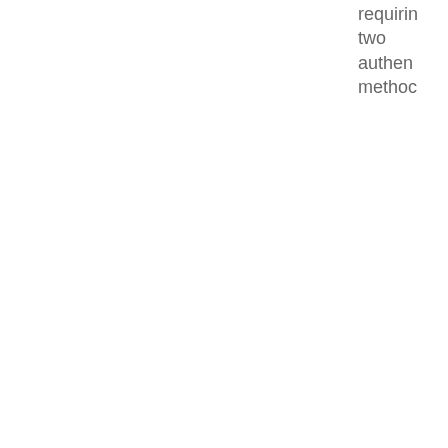requiring two authentication methods